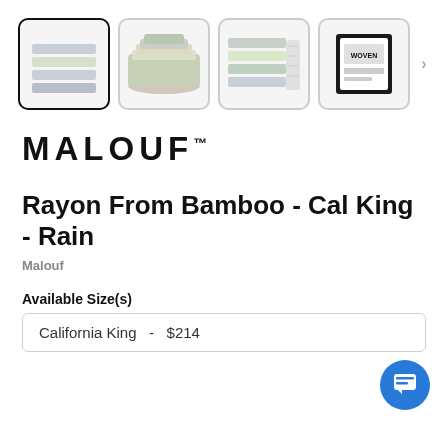[Figure (photo): Thumbnail row of 4 product images: folded colored sheets, stacked fabric pile, layered fabric swatches, product box. First image is selected with dark border.]
[Figure (logo): MALOUF brand logo in bold black uppercase letters with trademark symbol]
Rayon From Bamboo - Cal King - Rain
Malouf
Available Size(s)
California King   -   $214